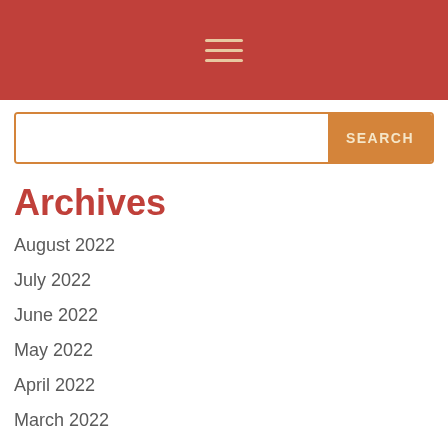≡ (hamburger menu icon)
Archives
August 2022
July 2022
June 2022
May 2022
April 2022
March 2022
February 2022
January 2022
December 2021